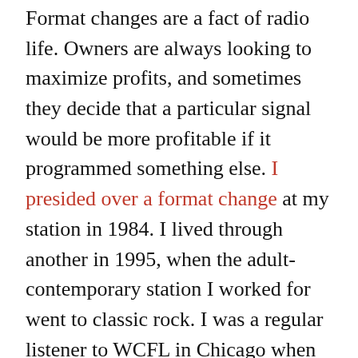Format changes are a fact of radio life. Owners are always looking to maximize profits, and sometimes they decide that a particular signal would be more profitable if it programmed something else. I presided over a format change at my station in 1984. I lived through another in 1995, when the adult-contemporary station I worked for went to classic rock. I was a regular listener to WCFL in Chicago when it made the granddaddy of all format changes in March 1976. It went from Top 40 to easy listening, but unlike most changes, this one was announced in advance. Other rock stations in town actually bought ads on 'CFL to lure listeners over. The switch happened at 5:00 on a weekday afternoon. I heard the great